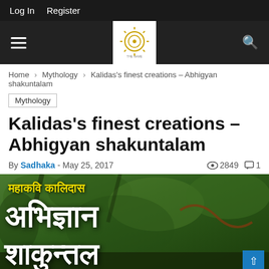Log In   Register
[Figure (logo): Website logo with circular sun/wheel design on white background, centered in dark navigation bar with hamburger menu on left and search icon on right]
Home › Mythology › Kalidas's finest creations – Abhigyan shakuntalam
Mythology
Kalidas's finest creations – Abhigyan shakuntalam
By Sadhaka - May 25, 2017   👁 2849  💬 1
[Figure (photo): Book cover image showing Hindi text: महाकवि कालिदास (top, yellow text), अभिज्ञान (large white text), शाकुन्तल (large white text), with a green forest background and a female figure illustration on the right side]